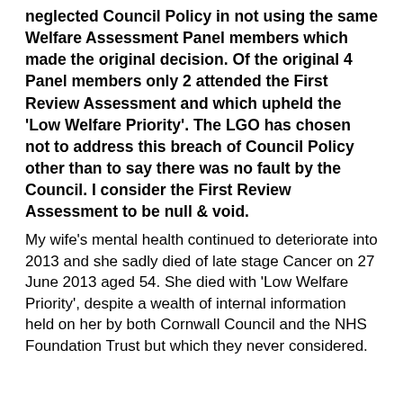neglected Council Policy in not using the same Welfare Assessment Panel members which made the original decision. Of the original 4 Panel members only 2 attended the First Review Assessment and which upheld the 'Low Welfare Priority'. The LGO has chosen not to address this breach of Council Policy other than to say there was no fault by the Council. I consider the First Review Assessment to be null & void.
My wife's mental health continued to deteriorate into 2013 and she sadly died of late stage Cancer on 27 June 2013 aged 54. She died with 'Low Welfare Priority', despite a wealth of internal information held on her by both Cornwall Council and the NHS Foundation Trust but which they never considered.